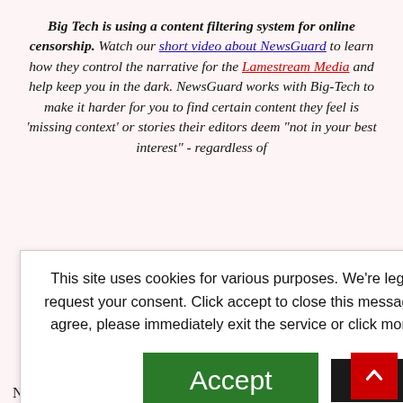Big Tech is using a content filtering system for online censorship. Watch our short video about NewsGuard to learn how they control the narrative for the Lamestream Media and help keep you in the dark. NewsGuard works with Big-Tech to make it harder for you to find certain content they feel is 'missing context' or stories their editors deem "not in your best interest" - regardless of [accurate. They] [ad-networks to] [they rate poorly] [uld be criminal] [orld nonsense] [nail and get the] [r inbox.]
This site uses cookies for various purposes. We're legally required to request your consent. Click accept to close this message. If you do not agree, please immediately exit the service or click more to learn why.
Now they have morphed into Black Lives Matter, Antifa, the